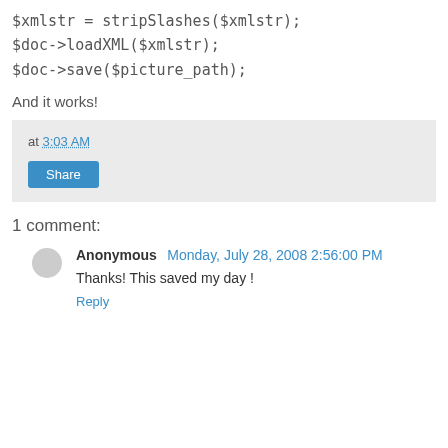$xmlstr = stripSlashes($xmlstr);
$doc->loadXML($xmlstr);
$doc->save($picture_path);
And it works!
at 3:03 AM
Share
1 comment:
Anonymous  Monday, July 28, 2008 2:56:00 PM
Thanks! This saved my day !
Reply